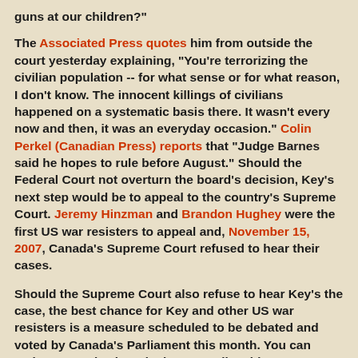guns at our children?"
The Associated Press quotes him from outside the court yesterday explaining, "You're terrorizing the civilian population -- for what sense or for what reason, I don't know. The innocent killings of civilians happened on a systematic basis there. It wasn't every now and then, it was an everyday occasion." Colin Perkel (Canadian Press) reports that "Judge Barnes said he hopes to rule before August." Should the Federal Court not overturn the board's decision, Key's next step would be to appeal to the country's Supreme Court. Jeremy Hinzman and Brandon Hughey were the first US war resisters to appeal and, November 15, 2007, Canada's Supreme Court refused to hear their cases.
Should the Supreme Court also refuse to hear Key's the case, the best chance for Key and other US war resisters is a measure scheduled to be debated and voted by Canada's Parliament this month. You can make your voice heard. Three e-mails addresses to focus on are: Prime Minister Stephen Harper (pm@pm.gc.ca --